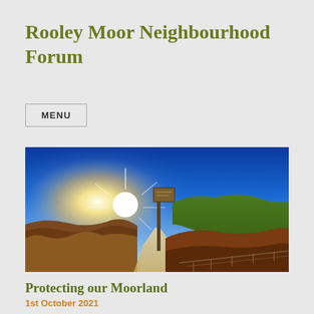Rooley Moor Neighbourhood Forum
MENU
[Figure (photo): Panoramic moorland landscape photo showing a bright sun rising or setting over rolling hills with a footpath sign post in the center, green hills to the right, autumn-coloured moorland vegetation, under a deep blue sky.]
Protecting our Moorland
1st October 2021
High Sheriff of Greater Manchester – Area Visit